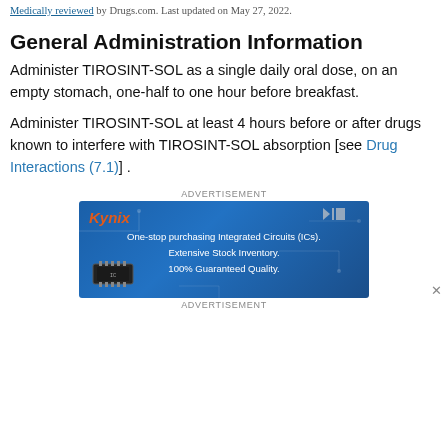Medically reviewed by Drugs.com. Last updated on May 27, 2022.
General Administration Information
Administer TIROSINT-SOL as a single daily oral dose, on an empty stomach, one-half to one hour before breakfast.
Administer TIROSINT-SOL at least 4 hours before or after drugs known to interfere with TIROSINT-SOL absorption [see Drug Interactions (7.1)] .
[Figure (other): Kynix advertisement banner: blue background with circuit board design, Kynix logo in orange-red italic font, text reading 'One-stop purchasing Integrated Circuits (ICs). Extensive Stock Inventory. 100% Guaranteed Quality.' with an IC chip image at bottom left. Ad close button (X) at bottom right of page.]